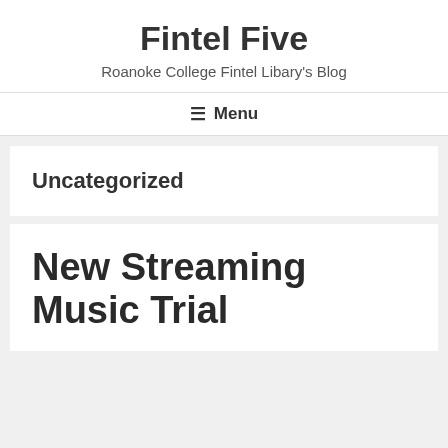Fintel Five
Roanoke College Fintel Libary's Blog
Menu
Uncategorized
New Streaming Music Trial